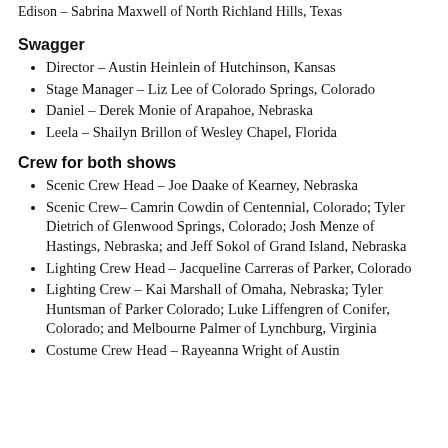Edison – Sabrina Maxwell of North Richland Hills, Texas
Swagger
Director – Austin Heinlein of Hutchinson, Kansas
Stage Manager – Liz Lee of Colorado Springs, Colorado
Daniel – Derek Monie of Arapahoe, Nebraska
Leela – Shailyn Brillon of Wesley Chapel, Florida
Crew for both shows
Scenic Crew Head – Joe Daake of Kearney, Nebraska
Scenic Crew– Camrin Cowdin of Centennial, Colorado; Tyler Dietrich of Glenwood Springs, Colorado; Josh Menze of Hastings, Nebraska; and Jeff Sokol of Grand Island, Nebraska
Lighting Crew Head – Jacqueline Carreras of Parker, Colorado
Lighting Crew – Kai Marshall of Omaha, Nebraska; Tyler Huntsman of Parker Colorado; Luke Liffengren of Conifer, Colorado; and Melbourne Palmer of Lynchburg, Virginia
Costume Crew Head – Rayeanna Wright of Austin…